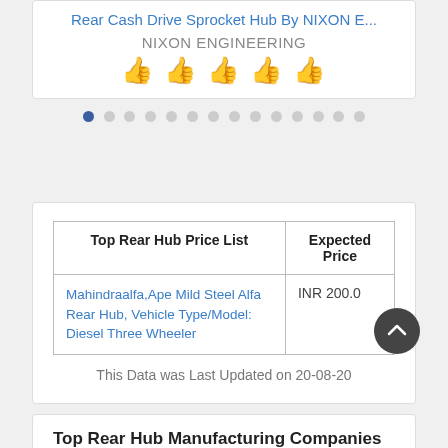Rear Cash Drive Sprocket Hub By NIXON E...
NIXON ENGINEERING
[Figure (illustration): Five golden thumbs-up emoji icons in a row]
[Figure (infographic): Carousel pagination dots: 14 dots, first one filled/dark blue, rest grey circles]
| Top Rear Hub Price List | Expected Price |
| --- | --- |
| Mahindraalfa,Ape Mild Steel Alfa Rear Hub, Vehicle Type/Model: Diesel Three Wheeler | INR 200.0 |
This Data was Last Updated on 20-08-20
Top Rear Hub Manufacturing Companies in